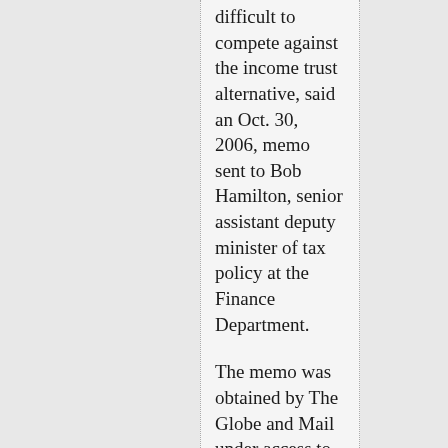difficult to compete against the income trust alternative, said an Oct. 30, 2006, memo sent to Bob Hamilton, senior assistant deputy minister of tax policy at the Finance Department.
The memo was obtained by The Globe and Mail under access to information